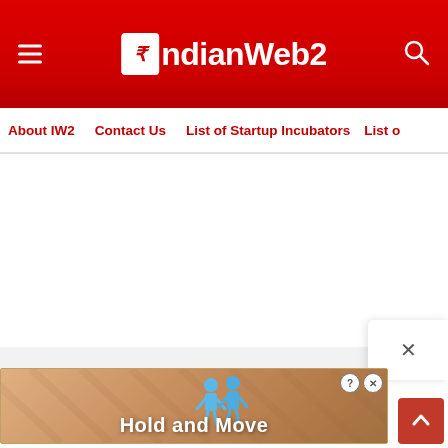[Figure (screenshot): IndianWeb2 website header with red background, hamburger menu icon on left, IndianWeb2 logo in center, search icon on right]
IndianWeb2
About IW2   Contact Us   List of Startup Incubators   List of
[Figure (screenshot): Advertisement banner showing 'Hold and Move' with bowling pin figures on wooden lane background, close button with X, and back-to-top red button]